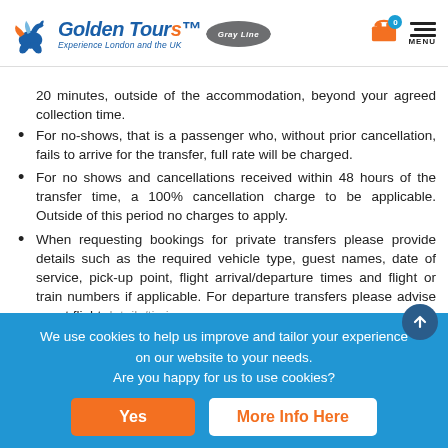[Figure (logo): Golden Tours Gray Line logo with horse mascot, blue text reading 'GoldenTours' with orange S, tagline 'Experience London and the UK', Gray Line diamond badge, cart icon with 0 badge, and hamburger menu with MENU label]
20 minutes, outside of the accommodation, beyond your agreed collection time.
For no-shows, that is a passenger who, without prior cancellation, fails to arrive for the transfer, full rate will be charged.
For no shows and cancellations received within 48 hours of the transfer time, a 100% cancellation charge to be applicable. Outside of this period no charges to apply.
When requesting bookings for private transfers please provide details such as the required vehicle type, guest names, date of service, pick-up point, flight arrival/departure times and flight or train numbers if applicable. For departure transfers please advise guest flight details/timings.
Children...providing...showed...children...will you
We use cookies to help us improve and tailor your experience on our website to your needs. Are you happy for us to use cookies?